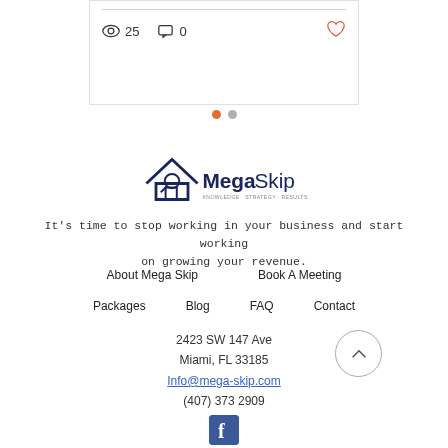[Figure (screenshot): Post card with divider line, view count (25), comment count (0), and heart/like icon]
[Figure (other): Carousel navigation dots: one orange active dot and one gray inactive dot]
[Figure (logo): MegaSkip logo with house and magnifying glass icon, text reads MegaSkip with tagline]
It's time to stop working in your business and start working on growing your revenue.
About Mega Skip
Book A Meeting
Packages
Blog
FAQ
Contact
2423 SW 147 Ave
Miami, FL 33185
Info@mega-skip.com
(407) 373 2909
[Figure (logo): Facebook social media icon, blue square with white F]